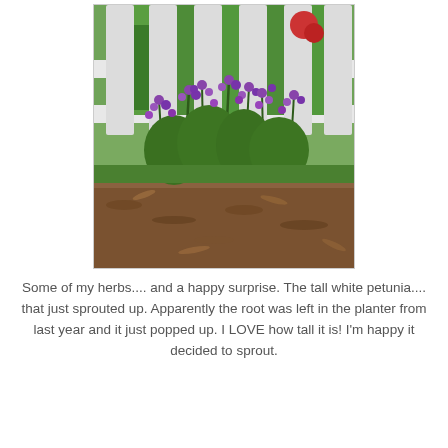[Figure (photo): Photograph of purple flowering plants growing in front of a white picket fence, with green grass and red flowers visible in the background through the fence slats. Brown mulch covers the ground around the plants.]
Some of my herbs.... and a happy surprise.  The tall white petunia.... that just sprouted up.  Apparently the root was left in the planter from last year and it just popped up.  I LOVE how tall it is!  I'm happy it decided to sprout.